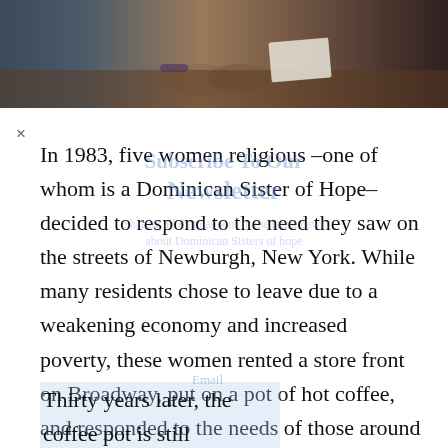[Figure (photo): Top portion of a photo showing hands resting on a wooden table surface, partial view]
In 1983, five women religious –one of whom is a Dominican Sister of Hope– decided to respond to the need they saw on the streets of Newburgh, New York. While many residents chose to leave due to a weakening economy and increased poverty, these women rented a store front on Broadway, put on a pot of hot coffee, and responded to the needs of those around them.
Thirty years later, the coffee pot is still
[Figure (photo): Black and white photo of a storefront with an arched entrance on Broadway]